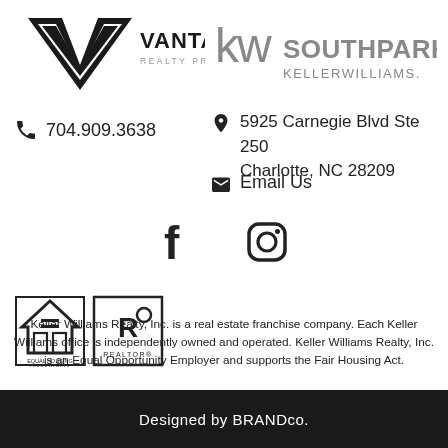[Figure (logo): Vantage Realty Professionals logo with stylized V and text]
[Figure (logo): KW Southpark Keller Williams logo]
704.909.3638
5925 Carnegie Blvd Ste 250
Charlotte, NC 28209
Email Us
[Figure (illustration): Facebook and Instagram social media icons]
[Figure (logo): Equal Housing Opportunity logo]
[Figure (logo): REALTOR logo]
Keller Williams Realty, Inc. is a real estate franchise company. Each Keller Williams office is independently owned and operated. Keller Williams Realty, Inc. is an Equal Opportunity Employer and supports the Fair Housing Act.
Designed by BRANDco.